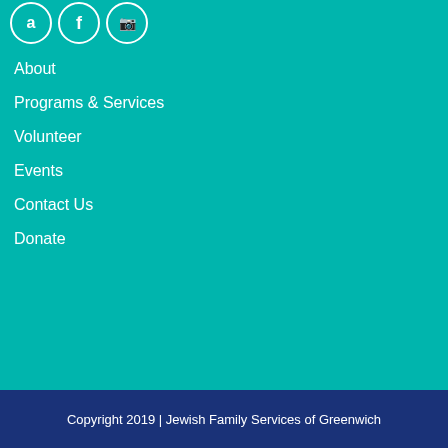[Figure (logo): Social media icons: Amazon/A, Facebook, Instagram in circular white-bordered buttons on teal background]
About
Programs & Services
Volunteer
Events
Contact Us
Donate
Sign up for our newsletter
Copyright 2019 | Jewish Family Services of Greenwich